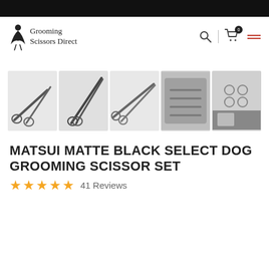Grooming Scissors Direct
[Figure (photo): Five product thumbnail images of Matsui Matte Black dog grooming scissors and scissor set in a case]
MATSUI MATTE BLACK SELECT DOG GROOMING SCISSOR SET
★★★★★  41 Reviews